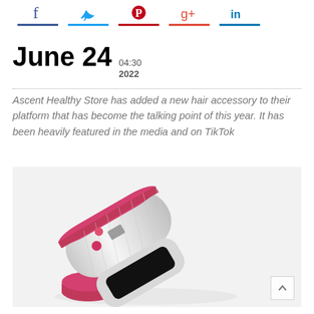Social sharing icons: Facebook, Twitter, Pinterest, Google+, LinkedIn
June 24 04:30 2022
Ascent Healthy Store has added a new hair accessory to their platform that has become the talking point of this year. It has been heavily featured in the media and on TikTok
[Figure (photo): A white and pink cordless automatic hair curling device photographed at an angle on a white background, showing pink accent rings, control buttons, a small display, and a black slot opening.]